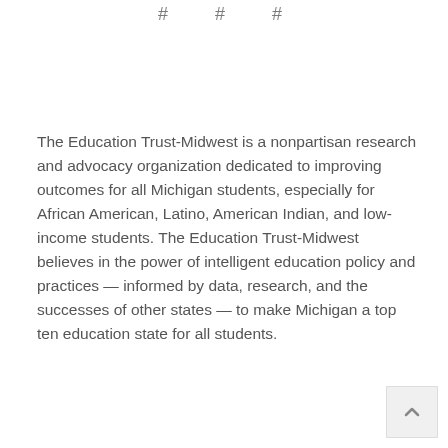# # #
The Education Trust-Midwest is a nonpartisan research and advocacy organization dedicated to improving outcomes for all Michigan students, especially for African American, Latino, American Indian, and low-income students. The Education Trust-Midwest believes in the power of intelligent education policy and practices — informed by data, research, and the successes of other states — to make Michigan a top ten education state for all students.